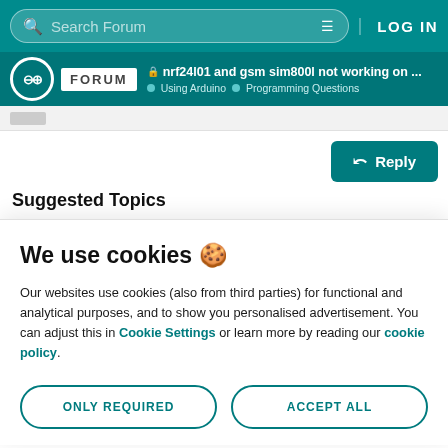Search Forum | LOG IN
nrf24l01 and gsm sim800l not working on ... | Using Arduino > Programming Questions
Suggested Topics
We use cookies 🍪
Our websites use cookies (also from third parties) for functional and analytical purposes, and to show you personalised advertisement. You can adjust this in Cookie Settings or learn more by reading our cookie policy.
ONLY REQUIRED
ACCEPT ALL